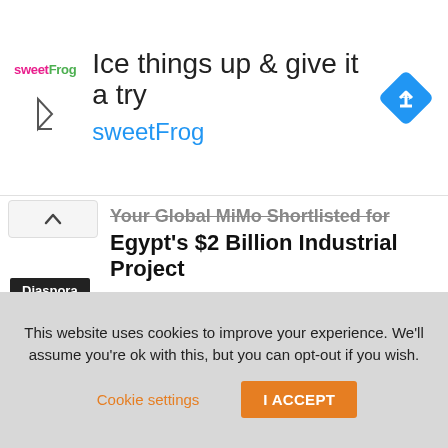[Figure (other): sweetFrog advertisement banner with logo, headline 'Ice things up & give it a try', brand name 'sweetFrog', and a blue diamond navigation icon]
Your Global MiMo Shortlisted for Egypt's $2 Billion Industrial Project
Diaspora
- Advertisement -
Other News
This website uses cookies to improve your experience. We'll assume you're ok with this, but you can opt-out if you wish.